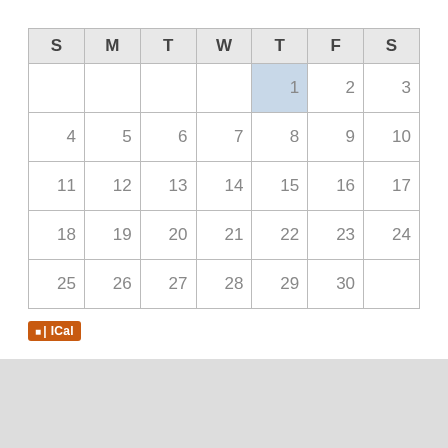| S | M | T | W | T | F | S |
| --- | --- | --- | --- | --- | --- | --- |
|  |  |  |  | 1 | 2 | 3 |
| 4 | 5 | 6 | 7 | 8 | 9 | 10 |
| 11 | 12 | 13 | 14 | 15 | 16 | 17 |
| 18 | 19 | 20 | 21 | 22 | 23 | 24 |
| 25 | 26 | 27 | 28 | 29 | 30 |  |
[Figure (other): iCal subscription button with RSS icon]
© 2021 -- APL Camera Club. All Rights Reserved.
More information